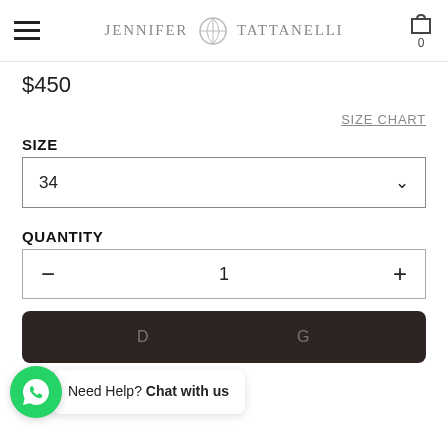JENNIFER TATTANELLI
$450
SIZE CHART
SIZE
34
QUANTITY
- 1 +
ADD TO BAG
+ SHIPPING
Need Help? Chat with us